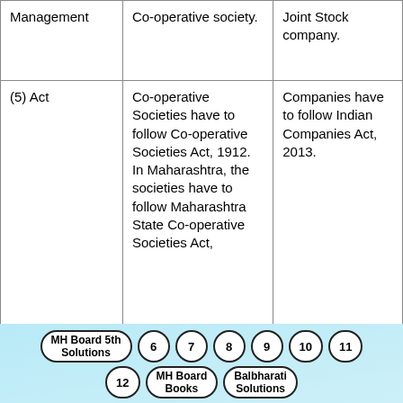|  | Co-operative Society | Joint Stock Company |
| --- | --- | --- |
| Management (partial) | Co-operative operative society. | Joint Stock company. |
| (5) Act | Co-operative Societies have to follow Co-operative Societies Act, 1912. In Maharashtra, the societies have to follow Maharashtra State Co-operative Societies Act... | Companies have to follow Indian Companies Act, 2013. |
MH Board 5th Solutions  6  7  8  9  10  11  12  MH Board Books  Balbharati Solutions